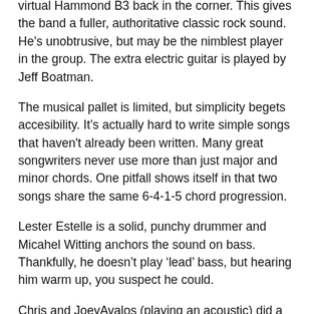virtual Hammond B3 back in the corner. This gives the band a fuller, authoritative classic rock sound. He's unobtrusive, but may be the nimblest player in the group. The extra electric guitar is played by Jeff Boatman.
The musical pallet is limited, but simplicity begets accesibility. It's actually hard to write simple songs that haven't already been written. Many great songwriters never use more than just major and minor chords. One pitfall shows itself in that two songs share the same 6-4-1-5 chord progression.
Lester Estelle is a solid, punchy drummer and Micahel Witting anchors the sound on bass. Thankfully, he doesn't play 'lead' bass, but hearing him warm up, you suspect he could.
Chris and JoeyAvalos (playing an acoustic) did a couple of newer songs that presumably the band hasn't arranged yet, and there are signs of broader musical experimentation there; a 'drinking' song with a country beat "How Long Have